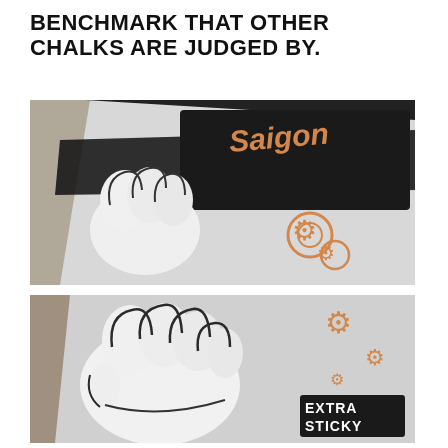BENCHMARK THAT OTHER CHALKS ARE JUDGED BY.
[Figure (photo): Close-up photo of a Saigon Climbing Industries chalk bag/container with a stylized fist graphic and gear icons, showing the logo in orange cursive text on a black background with metallic silver surface.]
[Figure (photo): Close-up photo of the bottom portion of the same Saigon Climbing Industries chalk container, showing a large stylized fist graphic with orange gear icons and an 'EXTRA STICKY' label badge in the lower right corner.]